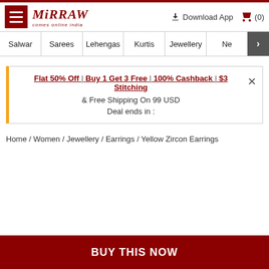Mirraw - comes online india
Salwar | Sarees | Lehengas | Kurtis | Jewellery | Ne >
Flat 50% Off | Buy 1 Get 3 Free | 100% Cashback | $3 Stitching & Free Shipping On 99 USD
Deal ends in :
Home / Women / Jewellery / Earrings / Yellow Zircon Earrings
BUY THIS NOW